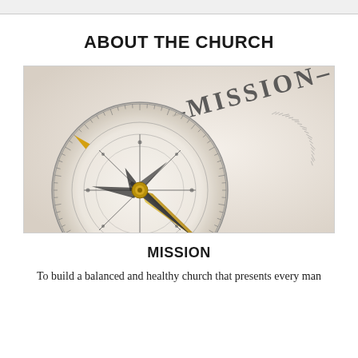ABOUT THE CHURCH
[Figure (photo): Close-up photo of a compass with gold needle pointing toward the word MISSION printed along the outer edge of the compass dial, against a beige/cream background.]
MISSION
To build a balanced and healthy church that presents every man